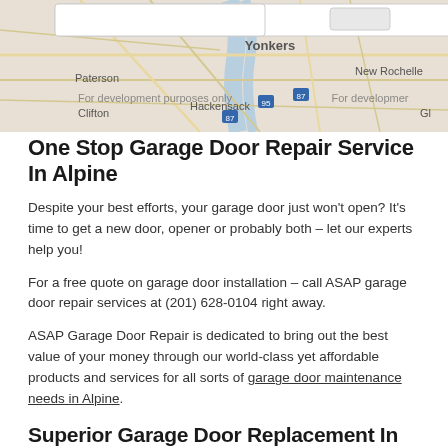[Figure (map): Google Maps screenshot showing the New York/New Jersey area including Yonkers, New Rochelle, Paterson, Hackensack, Clifton, with watermarks 'For development purposes only']
One Stop Garage Door Repair Service In Alpine
Despite your best efforts, your garage door just won't open? It's time to get a new door, opener or probably both – let our experts help you!
For a free quote on garage door installation – call ASAP garage door repair services at (201) 628-0104 right away.
ASAP Garage Door Repair is dedicated to bring out the best value of your money through our world-class yet affordable products and services for all sorts of garage door maintenance needs in Alpine.
Superior Garage Door Replacement In Alpine (07620)
At ASAP, we offer the widest range of superior quality garage door